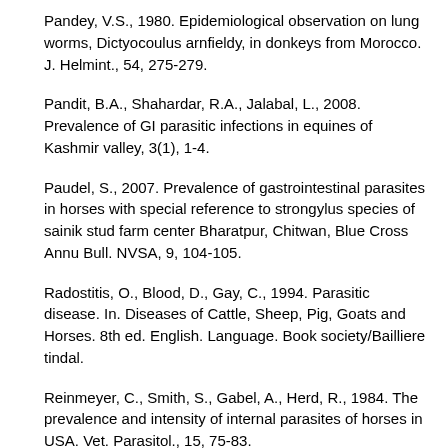Pandey, V.S., 1980. Epidemiological observation on lung worms, Dictyocoulus arnfieldy, in donkeys from Morocco. J. Helmint., 54, 275-279.
Pandit, B.A., Shahardar, R.A., Jalabal, L., 2008. Prevalence of GI parasitic infections in equines of Kashmir valley, 3(1), 1-4.
Paudel, S., 2007. Prevalence of gastrointestinal parasites in horses with special reference to strongylus species of sainik stud farm center Bharatpur, Chitwan, Blue Cross Annu Bull. NVSA, 9, 104-105.
Radostitis, O., Blood, D., Gay, C., 1994. Parasitic disease. In. Diseases of Cattle, Sheep, Pig, Goats and Horses. 8th ed. English. Language. Book society/Bailliere tindal.
Reinmeyer, C., Smith, S., Gabel, A., Herd, R., 1984. The prevalence and intensity of internal parasites of horses in USA. Vet. Parasitol., 15, 75-83.